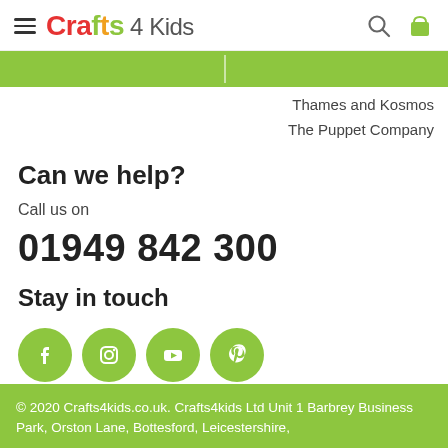Crafts 4 Kids
Thames and Kosmos
The Puppet Company
Can we help?
Call us on
01949 842 300
Stay in touch
[Figure (infographic): Social media icons: Facebook, Instagram, YouTube, Pinterest in green circles]
© 2020 Crafts4kids.co.uk. Crafts4kids Ltd Unit 1 Barbrey Business Park, Orston Lane, Bottesford, Leicestershire,